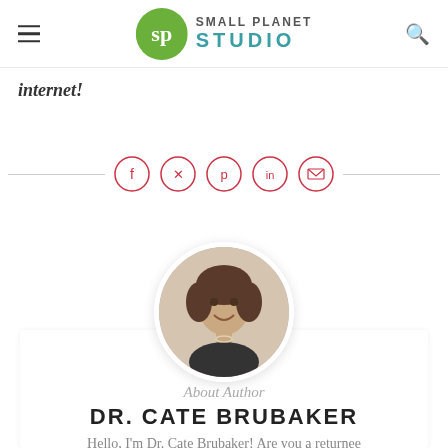Small Planet Studio
internet!
[Figure (infographic): Social sharing icons in circles: Facebook, Twitter, Pinterest, LinkedIn, Email with horizontal divider lines on each side]
[Figure (photo): Circular headshot photo of Dr. Cate Brubaker, a woman with brown hair, smiling, wearing a dark patterned top with a necklace]
About Author
DR. CATE BRUBAKER
Hello, I'm Dr. Cate Brubaker! Are you a returnee